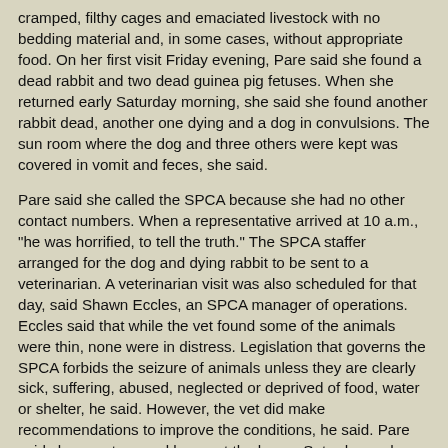cramped, filthy cages and emaciated livestock with no bedding material and, in some cases, without appropriate food. On her first visit Friday evening, Pare said she found a dead rabbit and two dead guinea pig fetuses. When she returned early Saturday morning, she said she found another rabbit dead, another one dying and a dog in convulsions. The sun room where the dog and three others were kept was covered in vomit and feces, she said.
Pare said she called the SPCA because she had no other contact numbers. When a representative arrived at 10 a.m., "he was horrified, to tell the truth." The SPCA staffer arranged for the dog and dying rabbit to be sent to a veterinarian. A veterinarian visit was also scheduled for that day, said Shawn Eccles, an SPCA manager of operations. Eccles said that while the vet found some of the animals were thin, none were in distress. Legislation that governs the SPCA forbids the seizure of animals unless they are clearly sick, suffering, abused, neglected or deprived of food, water or shelter, he said. However, the vet did make recommendations to improve the conditions, he said. Pare said she spent several hours at the house Saturday and Sunday cleaning up, making the animals more comfortable and ensuring they had water and adequate food.
After finding a dead guinea pig and chick body in two of the dogs' mouths, she said she covered up two fire pits in which she saw fur, feathers and animal bodies. Rutledge keeps llamas, horses, cattle, a donkey, pot-bellied pig, goats, ducks, chickens, dogs, cats and all manner of small rodents and exotics, including parrots and sugar gliders (a type of marsupial). Pare said many of the small caged animals were stacked floor to ceiling at the back of a semi-trailer that was two-thirds full of dirty cages. "As far as I'm concerned, they're extremely inappropriately caged," Pare said. "The animals in the house are probably the best cared for but they're still filthy